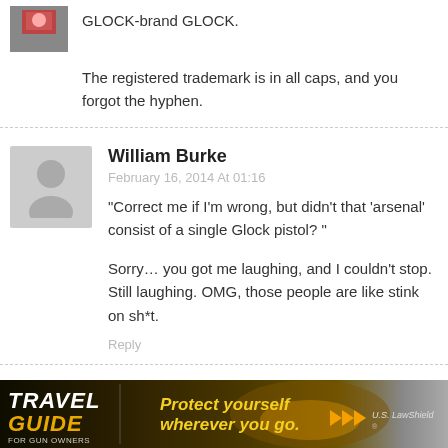GLOCK-brand GLOCK.
The registered trademark is in all caps, and you forgot the hyphen.
William Burke
February 16, 2014 At 01:16
“Correct me if I’m wrong, but didn’t that ‘arsenal’ consist of a single Glock pistol? ”
Sorry… you got me laughing, and I couldn’t stop. Still laughing. OMG, those people are like stink on sh*t.
Reply
[Figure (infographic): Travel Guide For Gun Owners advertisement banner with text 'Protect yourself wherever you go.' and US LawShield branding]